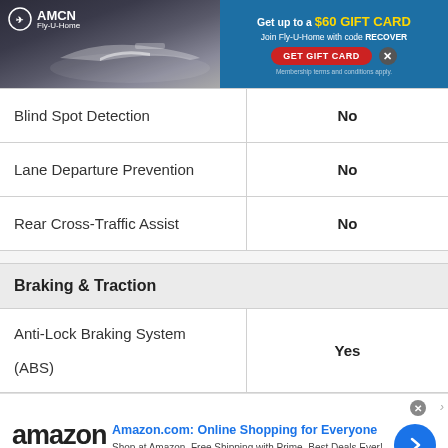[Figure (other): AMCN Fly-U-Home advertisement banner with airplane photo and '$60 GIFT CARD' offer with 'GET GIFT CARD' button]
| Blind Spot Detection | No |
| Lane Departure Prevention | No |
| Rear Cross-Traffic Assist | No |
| Braking & Traction |  |
| --- | --- |
| Anti-Lock Braking System

(ABS) | Yes |
[Figure (other): Amazon.com advertisement banner with Amazon logo, 'Online Shopping for Everyone' headline, and blue circular arrow button]